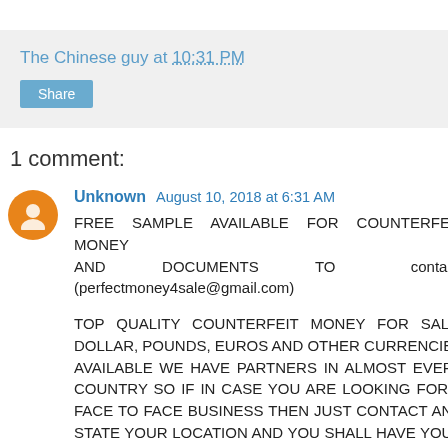The Chinese guy at 10:31 PM
Share
1 comment:
Unknown  August 10, 2018 at 6:31 AM
FREE SAMPLE AVAILABLE FOR COUNTERFEIT MONEY AND DOCUMENTS TO contact. (perfectmoney4sale@gmail.com)

TOP QUALITY COUNTERFEIT MONEY FOR SALE. DOLLAR, POUNDS, EUROS AND OTHER CURRENCIES AVAILABLE WE HAVE PARTNERS IN ALMOST EVERY COUNTRY SO IF IN CASE YOU ARE LOOKING FOR A FACE TO FACE BUSINESS THEN JUST CONTACT AND STATE YOUR LOCATION AND YOU SHALL HAVE YOUR BILLS.